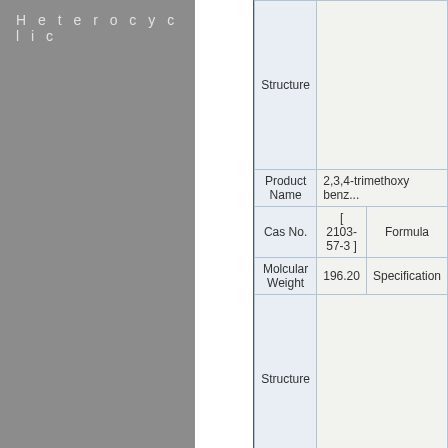Heterocyclic
|  |  |
| --- | --- |
| Structure | (structure image) |
| Product Name | 2,3,4-trimethoxy benz... |
| Cas No. | [ 2103-57-3 ] | Formula |
| Molcular Weight | 196.20 | Specification |
| Structure | (structure image) |
| Product Name | 2,3,4-trihydroxybenz... |
| Cas No. | [ 2144-08-3 ] | Formula |